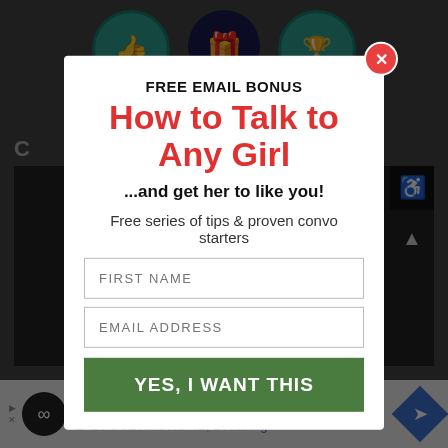[Figure (screenshot): Background website page with navigation icons (thumbs up, gift, trophy) labeled The Best, Specialty, Club vs, with squiggly decorative lines and partial heading text]
FREE EMAIL BONUS
How to Talk to Any Girl
...and get her to like you!
Free series of tips & proven convo starters
FIRST NAME
EMAIL ADDRESS
YES, I WANT THIS
[Figure (screenshot): Bottom advertisement bar for Leesburg showing logo, OPEN 10AM-9PM, 241 Fort Evans Rd NE Leesburg, with navigation arrow icon]